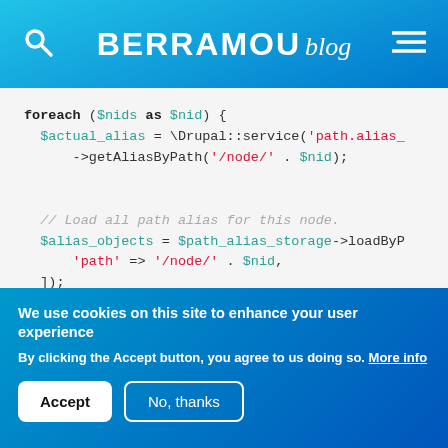BERRAMOU blog
foreach ($nids as $nid) {
  $actual_alias = \Drupal::service('path.alias_
    ->getAliasByPath('/node/' . $nid);

  // Load all path alias for this node.
  $alias_objects = $path_alias_storage->loadByP
    'path' => '/node/' . $nid,
  ]);
}
We use cookies on this site to enhance your user experience
By clicking the Accept button, you agree to us doing so. More info
Accept   No, thanks